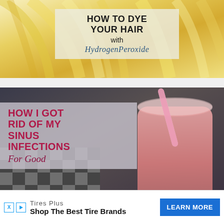[Figure (photo): Close-up photo of blonde hair strands with a text overlay box reading 'HOW TO DYE YOUR HAIR with HydrogenPeroxide']
[Figure (photo): Photo of a pink smoothie in a mason jar with a striped straw and checkered cloth background, with text overlay reading 'HOW I GOT RID OF MY SINUS INFECTIONS For Good']
Tires Plus
Shop The Best Tire Brands
LEARN MORE